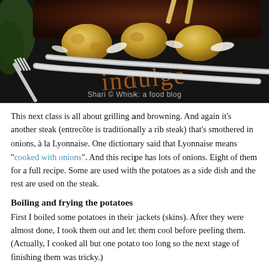[Figure (photo): A food photography image showing grilled steak with potatoes on a dark plate, with a fork and knife in the foreground. The plate has the word 'indulge' written on it. A watermark reads 'Shari © Whisk: a food blog'.]
This next class is all about grilling and browning. And again it's another steak (entrecôte is traditionally a rib steak) that's smothered in onions, à la Lyonnaise. One dictionary said that Lyonnaise means "cooked with onions". And this recipe has lots of onions. Eight of them for a full recipe. Some are used with the potatoes as a side dish and the rest are used on the steak.
Boiling and frying the potatoes
First I boiled some potatoes in their jackets (skins). After they were almost done, I took them out and let them cool before peeling them. (Actually, I cooked all but one potato too long so the next stage of finishing them was tricky.)